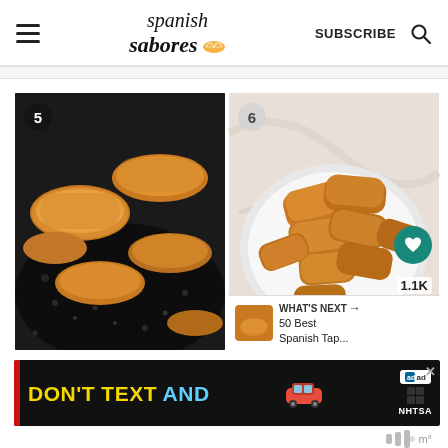spanish sabores — SUBSCRIBE
[Figure (photo): Step 5: Breaded items frying in a dark pan with bubbling oil, golden brown coating]
[Figure (photo): Step 6: Fried croquetas piled on a white plate, golden brown, with heart/share overlay buttons showing 1.1K, and a 'WHAT'S NEXT' banner for '50 Best Spanish Tap...']
[Figure (infographic): Advertisement banner: DON'T TEXT AND [car emoji] with ad badge and NHTSA logo]